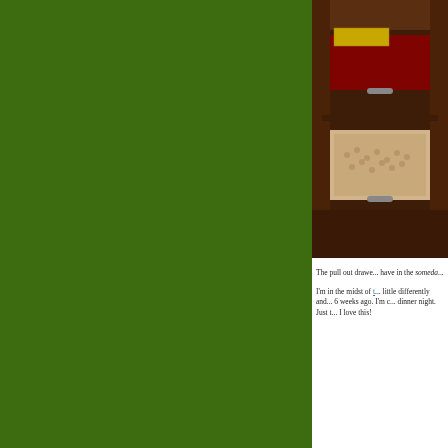[Figure (photo): A wooden pull-out drawer cabinet with bags of grains/beans inside, viewed from an angle showing wooden shelves and drawer handles.]
The pull out drawe... have in the someda...
I'm in the midst of t... little differently and... 6 weeks ago. I'm c... dinner night. Just t... I love this!